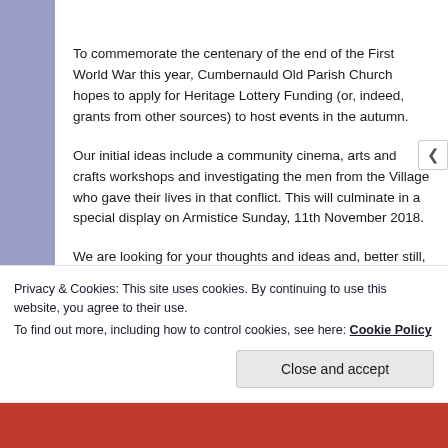[Figure (logo): Partial logo image with red elements, partially cropped at top]
To commemorate the centenary of the end of the First World War this year, Cumbernauld Old Parish Church hopes to apply for Heritage Lottery Funding (or, indeed, grants from other sources) to host events in the autumn.
Our initial ideas include a community cinema, arts and crafts workshops and investigating the men from the Village who gave their lives in that conflict. This will culminate in a special display on Armistice Sunday, 11th November 2018.
We are looking for your thoughts and ideas and, better still, help!
Privacy & Cookies: This site uses cookies. By continuing to use this website, you agree to their use.
To find out more, including how to control cookies, see here: Cookie Policy